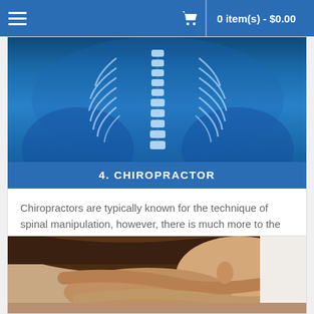0 item(s) - $0.00
[Figure (photo): X-ray style anatomical illustration of human spine and rib cage on blue background]
4. CHIROPRACTOR
Chiropractors are typically known for the technique of spinal manipulation, however, there is much more to the art ...
[Figure (photo): Close-up photo of a massage therapist performing neck/head massage on a woman lying face down]